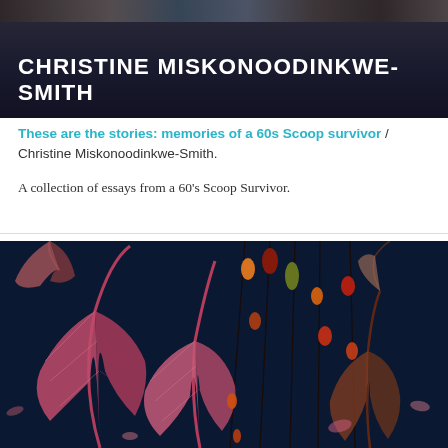[Figure (photo): Dark background banner with text 'CHRISTINE MISKONOODINKWE-SMITH' in white bold uppercase letters, with a partial photo visible at top]
These are the stories: memories of a 60s Scoop survivor / Christine Miskonoodinkwe-Smith.
A collection of essays from a 60's Scoop Survivor.
[Figure (illustration): Colorful illustration of decorative feathers and beaded strings on a dark navy blue background, with pink, red, brown feathers and orange, red, olive colored beads]